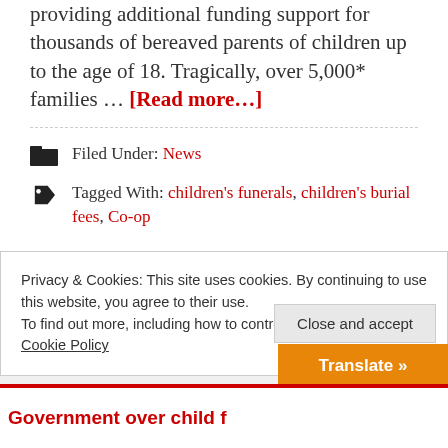providing additional funding support for thousands of bereaved parents of children up to the age of 18. Tragically, over 5,000* families … [Read more…]
Filed Under: News
Tagged With: children's funerals, children's burial fees, Co-op
Privacy & Cookies: This site uses cookies. By continuing to use this website, you agree to their use. To find out more, including how to control cookies, see here: Cookie Policy
Close and accept
Translate »
Government over child f…